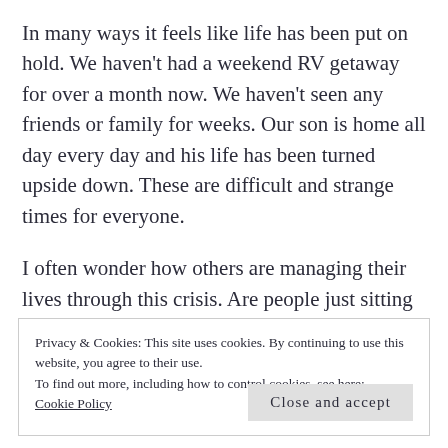In many ways it feels like life has been put on hold. We haven't had a weekend RV getaway for over a month now. We haven't seen any friends or family for weeks. Our son is home all day every day and his life has been turned upside down. These are difficult and strange times for everyone.
I often wonder how others are managing their lives through this crisis. Are people just sitting back and waiting to the government give them the all clear? Are
Privacy & Cookies: This site uses cookies. By continuing to use this website, you agree to their use.
To find out more, including how to control cookies, see here: Cookie Policy
Close and accept